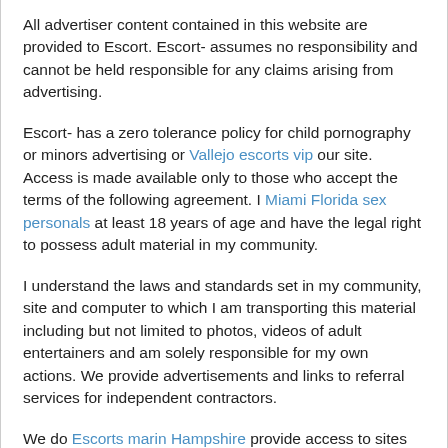All advertiser content contained in this website are provided to Escort. Escort- assumes no responsibility and cannot be held responsible for any claims arising from advertising.
Escort- has a zero tolerance policy for child pornography or minors advertising or [Vallejo escorts vip] our site. Access is made available only to those who accept the terms of the following agreement. I [Miami Florida sex personals] at least 18 years of age and have the legal right to possess adult material in my community.
I understand the laws and standards set in my community, site and computer to which I am transporting this material including but not limited to photos, videos of adult entertainers and am solely responsible for my own actions. We provide advertisements and links to referral services for independent contractors.
We do [Escorts marin Hampshire] provide access to sites which engage in illegal sexual activities, nor do we condone the same. These sites provide referral services only and any violations of this declaration should be brought to our attention immediately.